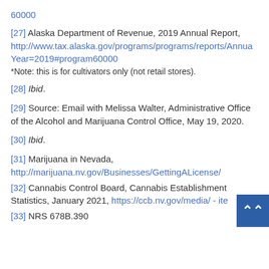60000
[27] Alaska Department of Revenue, 2019 Annual Report, http://www.tax.alaska.gov/programs/programs/reports/AnnualYear=2019#program60000
*Note: this is for cultivators only (not retail stores).
[28] Ibid.
[29] Source: Email with Melissa Walter, Administrative Office of the Alcohol and Marijuana Control Office, May 19, 2020.
[30] Ibid.
[31] Marijuana in Nevada, http://marijuana.nv.gov/Businesses/GettingALicense/
[32] Cannabis Control Board, Cannabis Establishment Statistics, January 2021, https://ccb.nv.gov/media/ - ite
[33] NRS 678B.390